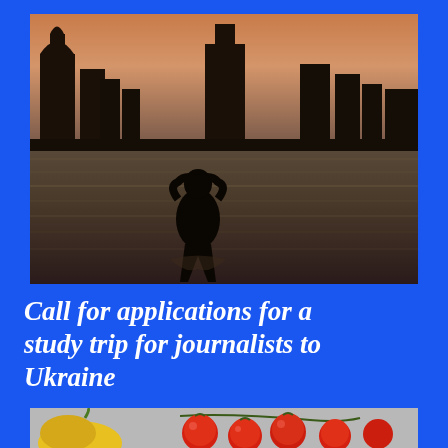[Figure (photo): Silhouette of a person using binoculars standing in front of a river/lake with a city skyline in the background at dusk/sunset]
Call for applications for a study trip for journalists to Ukraine
[Figure (photo): Photo showing vegetables including red tomatoes and a yellow pepper on a surface]